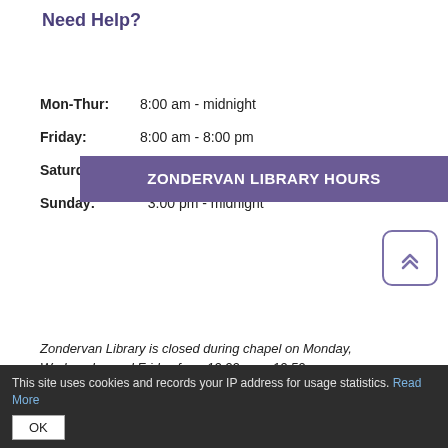Need Help?
| ZONDERVAN LIBRARY HOURS |
| --- |
| Mon-Thur: | 8:00 am - midnight |
| Friday: | 8:00 am - 8:00 pm |
| Saturday: | Noon - 8:00 pm |
| Sunday: | 3:00 pm - midnight |
Zondervan Library is closed during chapel on Monday, Wednesday and Friday from 10:00 am - 10:50 am.
Hours vary during finals week. Watch for announcements.
This site uses cookies and records your IP address for usage statistics. Read More